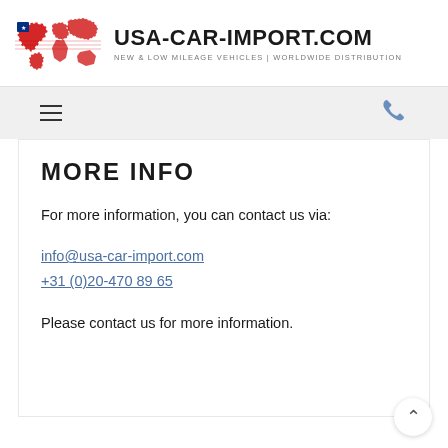[Figure (logo): USA-CAR-IMPORT.COM logo with world map in USA flag colors and bold site name text with tagline 'NEW & LOW MILEAGE VEHICLES | WORLDWIDE DISTRIBUTION']
[Figure (infographic): Navigation bar with hamburger menu icon on left and phone icon on right on light gray background]
MORE INFO
For more information, you can contact us via:
info@usa-car-import.com
+31 (0)20-470 89 65
Please contact us for more information.